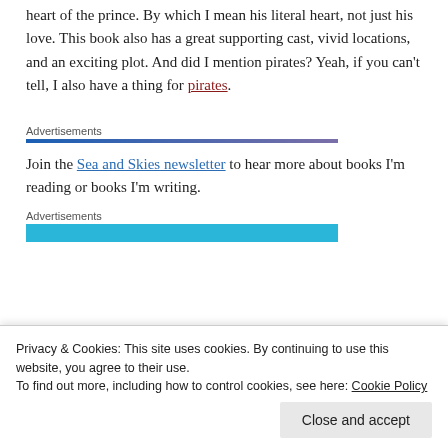heart of the prince. By which I mean his literal heart, not just his love. This book also has a great supporting cast, vivid locations, and an exciting plot. And did I mention pirates? Yeah, if you can't tell, I also have a thing for pirates.
Advertisements
Join the Sea and Skies newsletter to hear more about books I'm reading or books I'm writing.
Advertisements
Privacy & Cookies: This site uses cookies. By continuing to use this website, you agree to their use. To find out more, including how to control cookies, see here: Cookie Policy